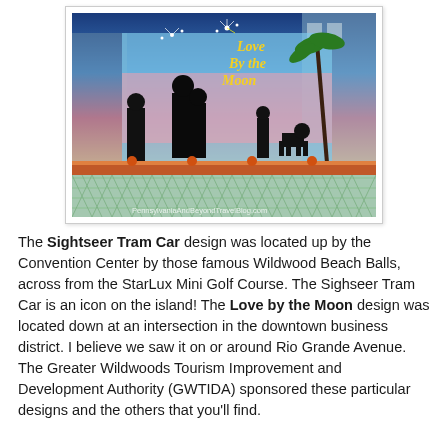[Figure (photo): Photograph of a painted utility box or mural showing 'Love By the Moon' artwork — two silhouetted figures at dusk with a palm tree, fireworks in the background, and a chain-link fence in the foreground. Watermark text reads 'PennsylvaniaAndBeyondTravelBlog.com'.]
The Sightseer Tram Car design was located up by the Convention Center by those famous Wildwood Beach Balls, across from the StarLux Mini Golf Course. The Sighseer Tram Car is an icon on the island! The Love by the Moon design was located down at an intersection in the downtown business district. I believe we saw it on or around Rio Grande Avenue. The Greater Wildwoods Tourism Improvement and Development Authority (GWTIDA) sponsored these particular designs and the others that you'll find.